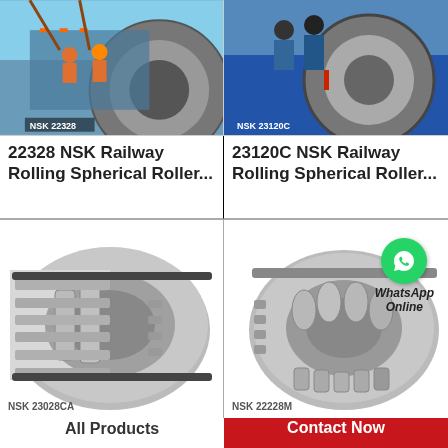[Figure (photo): Industrial workers installing large NSK bearing on machinery, workers on elevated platform, label NSK 22328]
[Figure (photo): Workers handling large NSK spherical roller bearing ring, label NSK 23120C]
22328 NSK Railway Rolling Spherical Roller...
23120C NSK Railway Rolling Spherical Roller...
[Figure (photo): Cross-section cutaway of NSK double row tapered roller bearing, label NSK 23028CA]
[Figure (photo): NSK spherical roller bearing with WhatsApp Online overlay, label NSK 22228M]
All Products
Contact Now